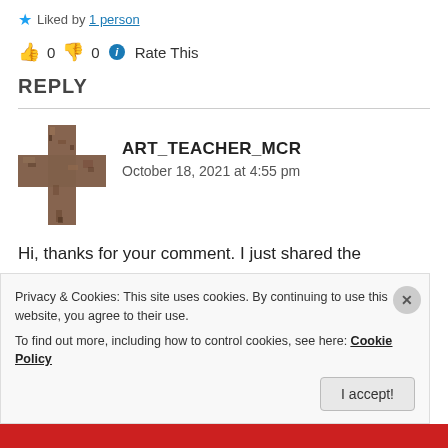Liked by 1 person
0 0 Rate This
REPLY
[Figure (illustration): Cross-shaped avatar photo for user ART_TEACHER_MCR, appearing to be a metallic/stone cross object]
ART_TEACHER_MCR
October 18, 2021 at 4:55 pm
Hi, thanks for your comment. I just shared the presentation, I hope your students enjoy it too!
Privacy & Cookies: This site uses cookies. By continuing to use this website, you agree to their use.
To find out more, including how to control cookies, see here: Cookie Policy
I accept!